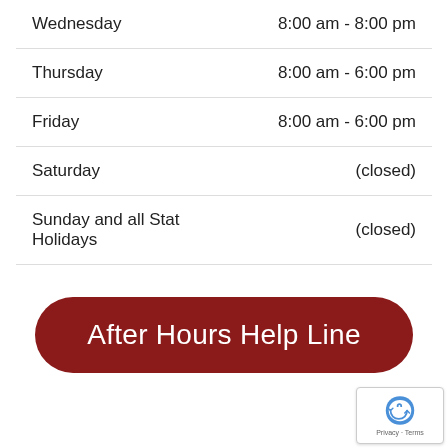| Day | Hours |
| --- | --- |
| Wednesday | 8:00 am - 8:00 pm |
| Thursday | 8:00 am - 6:00 pm |
| Friday | 8:00 am - 6:00 pm |
| Saturday | (closed) |
| Sunday and all Stat Holidays | (closed) |
After Hours Help Line